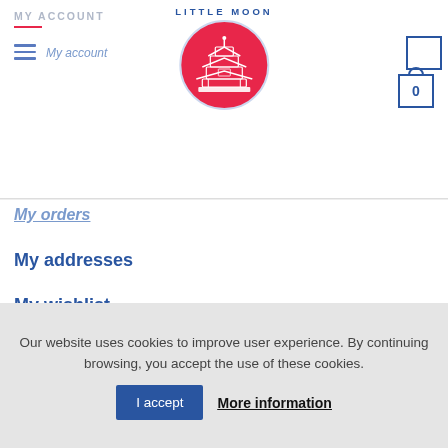MY ACCOUNT / LITTLE MOON
My account
My orders
My addresses
My wishlist
CONTACT
Head Office: Bois d'Arcy, France
Our website uses cookies to improve user experience. By continuing browsing, you accept the use of these cookies.